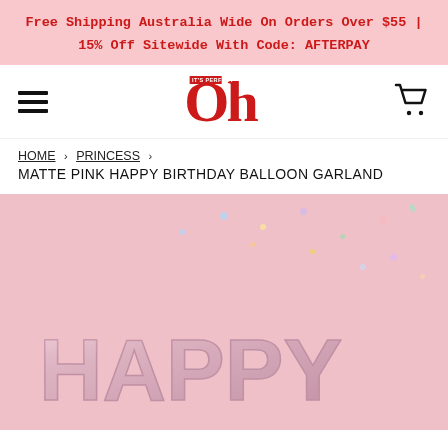Free Shipping Australia Wide On Orders Over $55 | 15% Off Sitewide With Code: AFTERPAY
[Figure (logo): Oh It's Perfect logo — bold red serif 'Oh' with small banner reading 'IT'S PERFECT' overlaid, flanked by hamburger menu icon on left and shopping cart icon on right]
HOME › PRINCESS › MATTE PINK HAPPY BIRTHDAY BALLOON GARLAND
[Figure (photo): Pink matte balloon garland spelling 'HAPPY' in large foil balloon letters on a pink background with scattered colorful confetti]